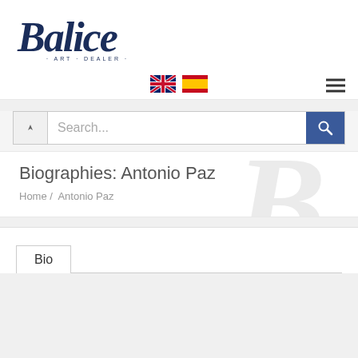[Figure (logo): Balice Art Dealer logo in dark navy italic script font with tagline '- ART · DEALER -' below]
[Figure (infographic): Navigation bar with UK and Spanish flag icons and hamburger menu icon on the right]
[Figure (screenshot): Search bar with dropdown arrow, placeholder text 'Search...', and dark blue search button with magnifying glass icon]
Biographies: Antonio Paz
Home /  Antonio Paz
Bio